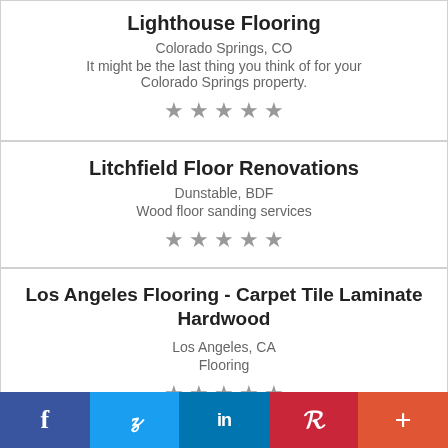Lighthouse Flooring
Colorado Springs, CO
It might be the last thing you think of for your Colorado Springs property.
Litchfield Floor Renovations
Dunstable, BDF
Wood floor sanding services
Los Angeles Flooring - Carpet Tile Laminate Hardwood
Los Angeles, CA
Flooring